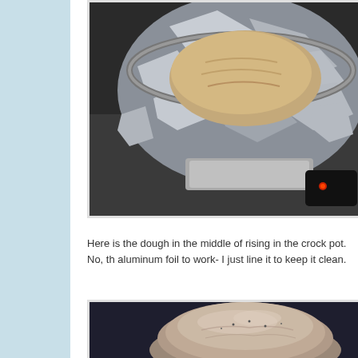[Figure (photo): Photo of dough rising in a crock pot lined with aluminum foil, seen from above at an angle. A metallic bowl or pan is visible with crinkled aluminum foil and bread dough inside. A dark object with a red light is visible at the lower right.]
Here is the dough in the middle of rising in the crock pot. No, th aluminum foil to work- I just line it to keep it clean.
[Figure (photo): Photo of a round loaf of bread dough on a dark surface, pale and slightly dusty looking, rounded on top.]